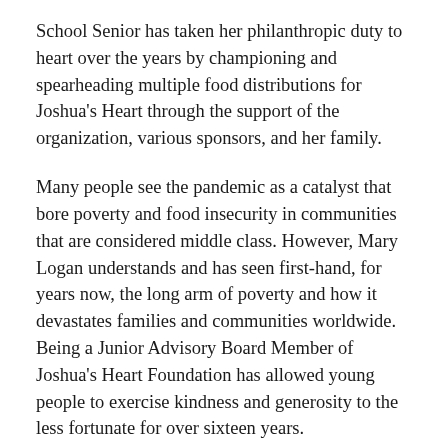School Senior has taken her philanthropic duty to heart over the years by championing and spearheading multiple food distributions for Joshua's Heart through the support of the organization, various sponsors, and her family.
Many people see the pandemic as a catalyst that bore poverty and food insecurity in communities that are considered middle class. However, Mary Logan understands and has seen first-hand, for years now, the long arm of poverty and how it devastates families and communities worldwide. Being a Junior Advisory Board Member of Joshua's Heart Foundation has allowed young people to exercise kindness and generosity to the less fortunate for over sixteen years.
Each fall Logan leads a food distribution project in Miami-Dade County to give hope to families that experience food insecurity year-round. This year was no different.